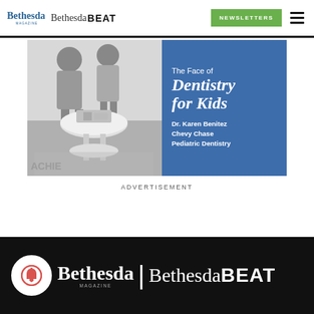Bethesda Magazine | Bethesda BEAT — NEWSLETTERS
[Figure (advertisement): Advertisement for Chevy Chase Pediatric Dentistry featuring black and white photo of children at a table on left, blue panel on right with text: The Face of Dentistry for Kids, Dr. Karen Benitez, Chevy Chase, Pediatric Dentistry]
ADVERTISEMENT
Bethesda Magazine | Bethesda BEAT